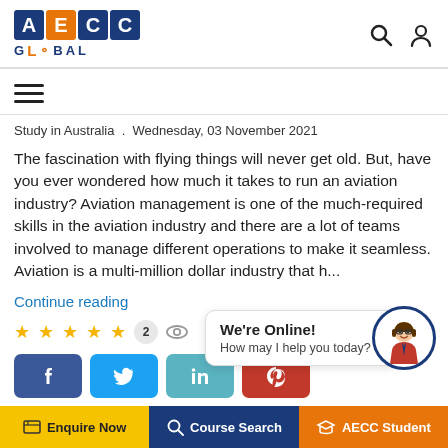[Figure (logo): AECC Global logo with colored letter boxes and globe icon]
[Figure (infographic): Hamburger menu icon - three horizontal lines]
Study in Australia  .  Wednesday, 03 November 2021
The fascination with flying things will never get old. But, have you ever wondered how much it takes to run an aviation industry? Aviation management is one of the much-required skills in the aviation industry and there are a lot of teams involved to manage different operations to make it seamless. Aviation is a multi-million dollar industry that h...
Continue reading
★★★★★  2  👁
[Figure (infographic): Social share buttons: Facebook, Twitter, LinkedIn, Pinterest]
[Figure (infographic): Chat widget: We're Online! How may I help you today? with avatar]
Enquire Now   Course Search   AECC Student